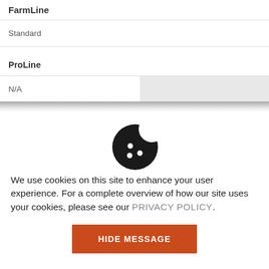| FarmLine |  |
| Standard |  |
| ProLine |  |
| N/A |  |
[Figure (illustration): Cookie icon — a round cookie with a bite taken out of the top-right, with three dot marks on the surface.]
We use cookies on this site to enhance your user experience. For a complete overview of how our site uses your cookies, please see our PRIVACY POLICY.
HIDE MESSAGE